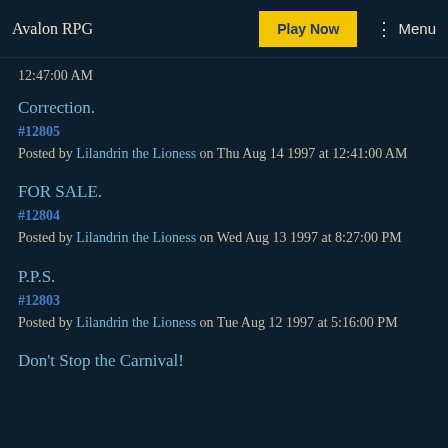Avalon RPG | Play Now | Menu
12:47:00 AM
Correction.
#12805
Posted by Lilandrin the Lioness on Thu Aug 14 1997 at 12:41:00 AM
FOR SALE.
#12804
Posted by Lilandrin the Lioness on Wed Aug 13 1997 at 8:27:00 PM
P.P.S.
#12803
Posted by Lilandrin the Lioness on Tue Aug 12 1997 at 5:16:00 PM
Don't Stop the Carnival!